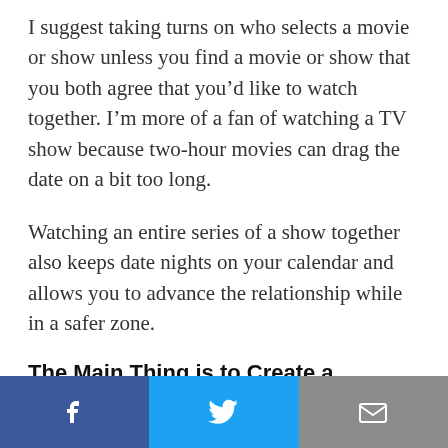I suggest taking turns on who selects a movie or show unless you find a movie or show that you both agree that you'd like to watch together. I'm more of a fan of watching a TV show because two-hour movies can drag the date on a bit too long.
Watching an entire series of a show together also keeps date nights on your calendar and allows you to advance the relationship while in a safer zone.
The Main Thing is to Create a Routine
Your phone is probably blowing up with messages — from good morning texts to checking in for an afternoon chat or a phone call — if you're single these days.
[Figure (infographic): Social share bar with Facebook, Twitter, and email buttons]